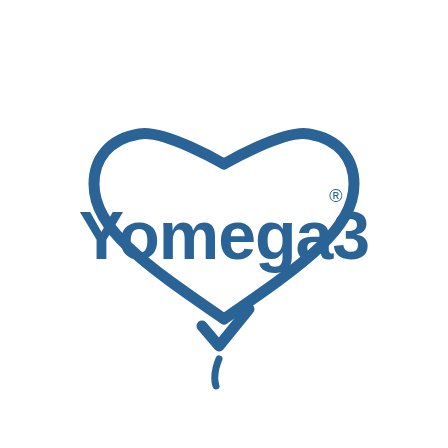[Figure (logo): Yomega3 brand logo: blue text 'Yomega3' with a registered trademark symbol, enclosed within a heart shape outline, and a checkmark at the bottom of the heart. The heart is drawn in blue outline style.]